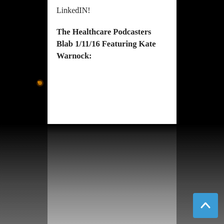[Figure (photo): Dark night sky background with a faint light flare visible on the left side and rocky/ground terrain visible at the bottom of the image]
LinkedIN!
The Healthcare Podcasters Blab 1/11/16 Featuring Kate Warnock: